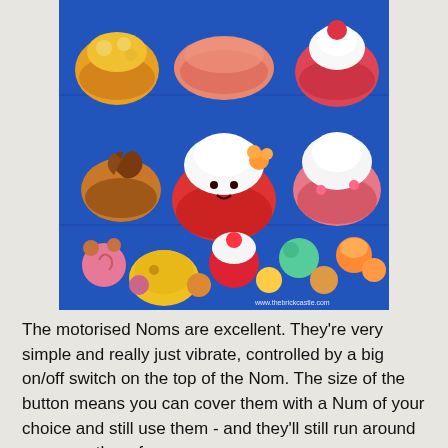[Figure (photo): Three-panel photo collage of colorful cupcake and dessert-themed toy figures (Num Noms) arranged on a blue surface. Top panel shows individual cupcake cups in yellow, pink/orange, and red with white cream. Middle panel shows larger cupcake figures including a prominent red cupcake with white cream and a cat face, a brown chocolate swirl cupcake, and a pink cupcake with white cream. Bottom panel shows a large group of many small colorful Num Noms figures in various colors including pink, yellow, red, teal, and orange. Watermark reads www.thebrickcastle.com]
The motorised Noms are excellent. They're very simple and really just vibrate, controlled by a big on/off switch on the top of the Nom. The size of the button means you can cover them with a Num of your choice and still use them - and they'll still run around any smooth surface.